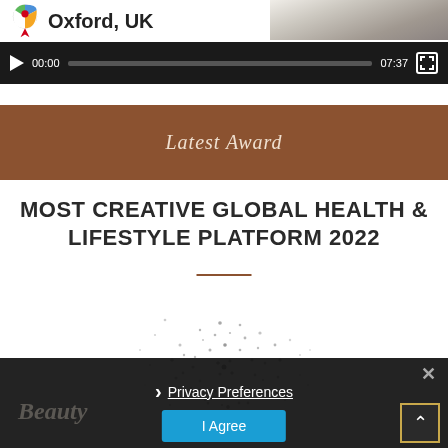[Figure (screenshot): Location bar showing 'Oxford, UK' with a map pin icon, and video player controls showing 00:00 / 07:37]
Latest Award
MOST CREATIVE GLOBAL HEALTH & LIFESTYLE PLATFORM 2022
[Figure (illustration): Scattered dot/particle pattern forming a circular medal or award shape, partially overlaid by dark cookie consent banner]
Privacy Preferences
I Agree